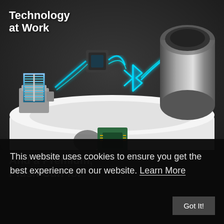[Figure (illustration): Exploded view of a blood pressure monitor device showing internal components: a coiled spring/sensor on the left, Bluetooth symbol in the center with glowing cyan lines, a cylindrical pump on the right, and a circuit board chip at the bottom center, all set against a dark background with the white cuff body]
Technology at Work
And a Premium, Plush Cuff for
This website uses cookies to ensure you get the best experience on our website. Learn More
Got It!